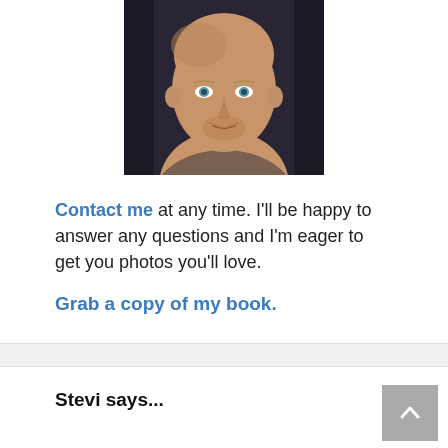[Figure (photo): Portrait photo of a bald man with blue-green eyes and stubble, looking at camera, dark background]
Contact me at any time. I'll be happy to answer any questions and I'm eager to get you photos you'll love.
Grab a copy of my book.
Stevi says...